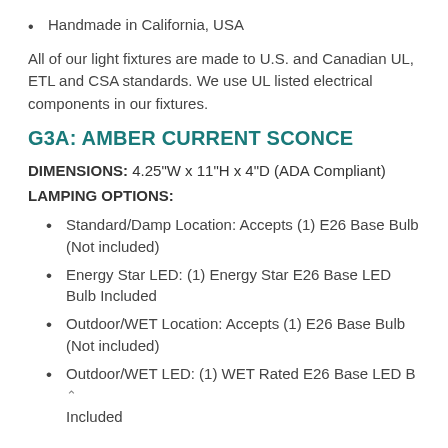Handmade in California, USA
All of our light fixtures are made to U.S. and Canadian UL, ETL and CSA standards. We use UL listed electrical components in our fixtures.
G3A: AMBER CURRENT SCONCE
DIMENSIONS: 4.25"W x 11"H x 4"D (ADA Compliant)
LAMPING OPTIONS:
Standard/Damp Location: Accepts (1) E26 Base Bulb (Not included)
Energy Star LED: (1) Energy Star E26 Base LED Bulb Included
Outdoor/WET Location: Accepts (1) E26 Base Bulb (Not included)
Outdoor/WET LED: (1) WET Rated E26 Base LED B Included